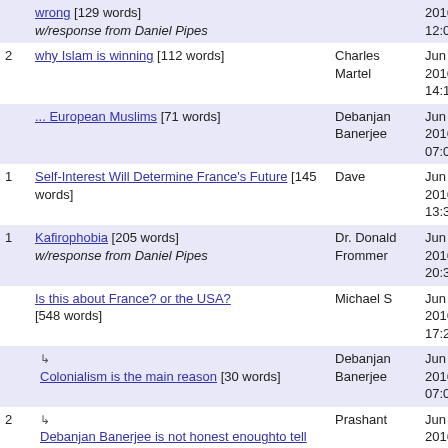| # | Title | Author | Date |
| --- | --- | --- | --- |
|  | wrong [129 words] w/response from Daniel Pipes |  | 2016 12:03 |
| 2 | why Islam is winning [112 words] | Charles Martel | Jun 9, 2016 14:17 |
|  | ... European Muslims [71 words] | Debanjan Banerjee | Jun 9, 2016 07:03 |
| 1 | Self-Interest Will Determine France's Future [145 words] | Dave | Jun 8, 2016 13:39 |
| 1 | Kafirophobia [205 words] w/response from Daniel Pipes | Dr. Donald Frommer | Jun 7, 2016 20:30 |
|  | Is this about France? or the USA? [548 words] | Michael S | Jun 7, 2016 17:25 |
|  | ↳ Colonialism is the main reason [30 words] | Debanjan Banerjee | Jun 9, 2016 07:08 |
| 2 | ↳ Debanjan Banerjee is not honest enoughto tell the full story [105 words] | Prashant | Jun 11, 2016 19:25 |
|  | ↳ Dear Prashant [130 words] | Debanjan Banerjee | Jun 18, 2016 |